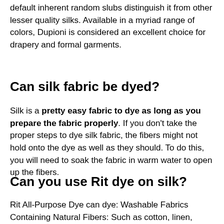default inherent random slubs distinguish it from other lesser quality silks. Available in a myriad range of colors, Dupioni is considered an excellent choice for drapery and formal garments.
Can silk fabric be dyed?
Silk is a pretty easy fabric to dye as long as you prepare the fabric properly. If you don't take the proper steps to dye silk fabric, the fibers might not hold onto the dye as well as they should. To do this, you will need to soak the fabric in warm water to open up the fibers.
Can you use Rit dye on silk?
Rit All-Purpose Dye can dye: Washable Fabrics Containing Natural Fibers: Such as cotton, linen, wool, silk, ramie and modal. Washable Fabrics Containing Synthetic Fibers: Such as nylon, rayon and viscose.